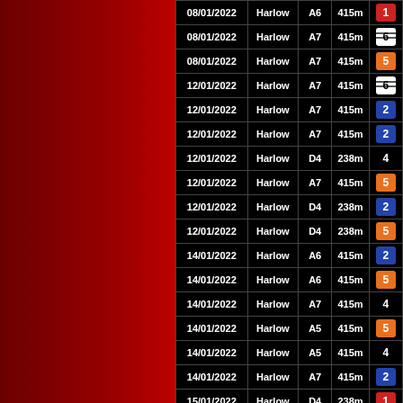| Date | Place | Code | Dist | Num |
| --- | --- | --- | --- | --- |
| 08/01/2022 | Harlow | A6 | 415m | 1 |
| 08/01/2022 | Harlow | A7 | 415m | 6 |
| 08/01/2022 | Harlow | A7 | 415m | 5 |
| 12/01/2022 | Harlow | A7 | 415m | 6 |
| 12/01/2022 | Harlow | A7 | 415m | 2 |
| 12/01/2022 | Harlow | A7 | 415m | 2 |
| 12/01/2022 | Harlow | D4 | 238m | 4 |
| 12/01/2022 | Harlow | A7 | 415m | 5 |
| 12/01/2022 | Harlow | D4 | 238m | 2 |
| 12/01/2022 | Harlow | D4 | 238m | 5 |
| 14/01/2022 | Harlow | A6 | 415m | 2 |
| 14/01/2022 | Harlow | A6 | 415m | 5 |
| 14/01/2022 | Harlow | A7 | 415m | 4 |
| 14/01/2022 | Harlow | A5 | 415m | 5 |
| 14/01/2022 | Harlow | A5 | 415m | 4 |
| 14/01/2022 | Harlow | A7 | 415m | 2 |
| 15/01/2022 | Harlow | D4 | 238m | 1 |